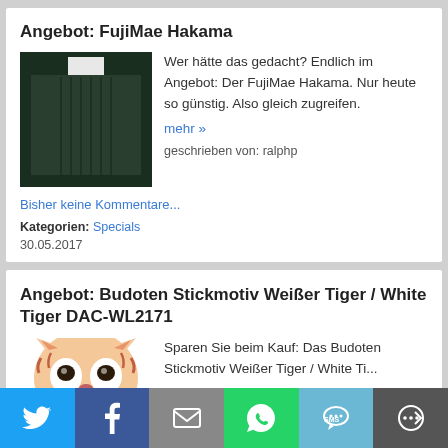Angebot: FujiMae Hakama
[Figure (photo): Dark green/black FujiMae Hakama garment on white background]
Wer hätte das gedacht? Endlich im Angebot: Der FujiMae Hakama. Nur heute so günstig. Also gleich zugreifen.
mehr »
geschrieben von: ralphp
Bisher keine Kommentare...
Kategorien: Specials
30.05.2017
Angebot: Budoten Stickmotiv Weißer Tiger / White Tiger DAC-WL2171
[Figure (illustration): White tiger head illustration/emblem]
Sparen Sie beim Kauf: Das Budoten Stickmotiv Weißer Tiger / White Ti...
[Figure (infographic): Social share bar with Twitter, Facebook, Email, WhatsApp, SMS, More buttons]